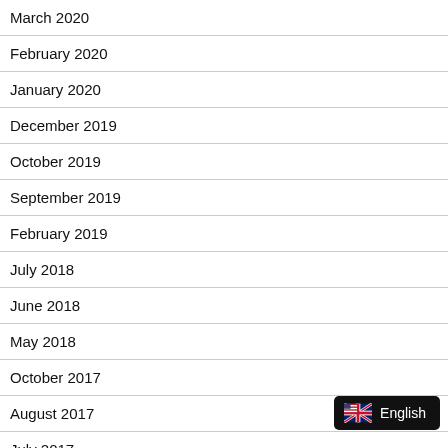March 2020
February 2020
January 2020
December 2019
October 2019
September 2019
February 2019
July 2018
June 2018
May 2018
October 2017
August 2017
July 2017